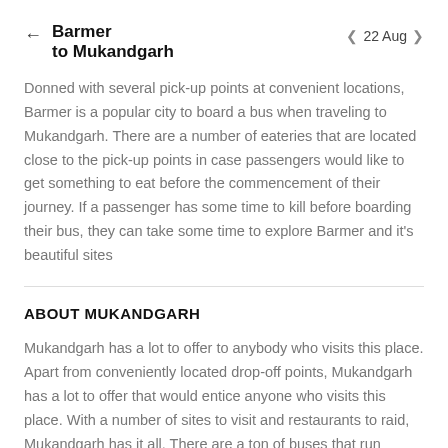Barmer to Mukandgarh  22 Aug
Donned with several pick-up points at convenient locations, Barmer is a popular city to board a bus when traveling to Mukandgarh. There are a number of eateries that are located close to the pick-up points in case passengers would like to get something to eat before the commencement of their journey. If a passenger has some time to kill before boarding their bus, they can take some time to explore Barmer and it's beautiful sites
ABOUT MUKANDGARH
Mukandgarh has a lot to offer to anybody who visits this place. Apart from conveniently located drop-off points, Mukandgarh has a lot to offer that would entice anyone who visits this place. With a number of sites to visit and restaurants to raid, Mukandgarh has it all. There are a ton of buses that run through Mukandgarh and this ensures